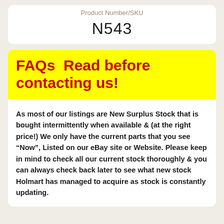Product Number/SKU
N543
FAQs  Read before contacting us!
As most of our listings are New Surplus Stock that is bought intermittently when available & (at the right price!) We only have the current parts that you see “Now”, Listed on our eBay site or Website. Please keep in mind to check all our current stock thoroughly & you can always check back later to see what new stock Holmart has managed to acquire as stock is constantly updating.